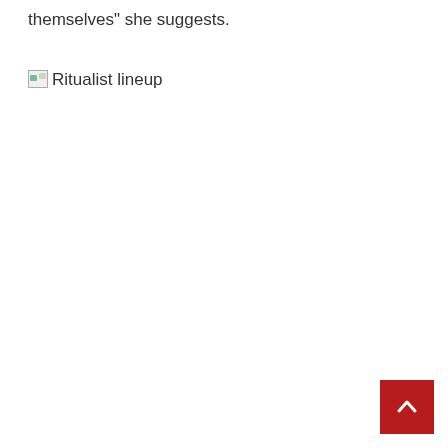themselves" she suggests.
[Figure (other): Broken image placeholder with alt text 'Ritualist lineup']
Scroll to top button (red arrow up)